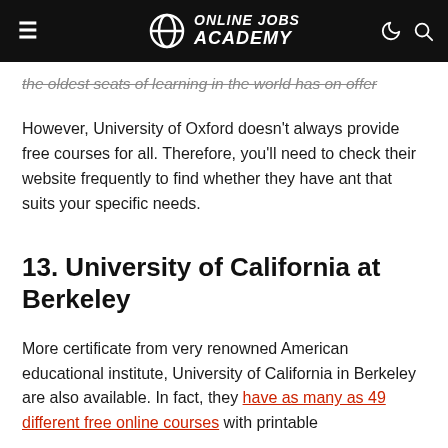Online Jobs Academy
the oldest seats of learning in the world has on offer
However, University of Oxford doesn't always provide free courses for all. Therefore, you'll need to check their website frequently to find whether they have ant that suits your specific needs.
13. University of California at Berkeley
More certificate from very renowned American educational institute, University of California in Berkeley are also available. In fact, they have as many as 49 different free online courses with printable